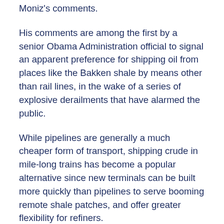Moniz's comments.
His comments are among the first by a senior Obama Administration official to signal an apparent preference for shipping oil from places like the Bakken shale by means other than rail lines, in the wake of a series of explosive derailments that have alarmed the public.
While pipelines are generally a much cheaper form of transport, shipping crude in mile-long trains has become a popular alternative since new terminals can be built more quickly than pipelines to serve booming remote shale patches, and offer greater flexibility for refiners.